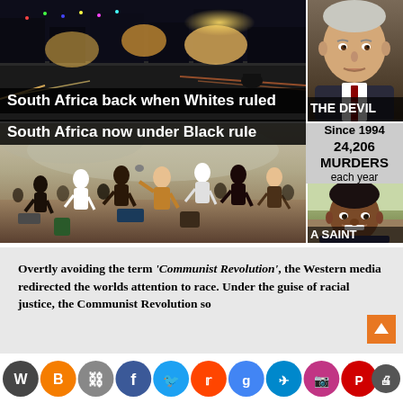[Figure (photo): Collage of two photos side by side: top-left shows a nighttime street scene with lights (labeled 'South Africa back when Whites ruled'), top-right shows a portrait of a white man labeled 'THE DEVIL'; bottom-left shows a crowd scene with people running (labeled 'South Africa now under Black rule'), right-center shows a statistics box reading 'Since 1994 / 24,206 MURDERS / each year', bottom-right shows a portrait of Nelson Mandela labeled 'A SAINT']
Overtly avoiding the term ‘Communist Revolution’, the Western media redirected the worlds attention to race. Under the guise of racial justice, the Communist Revolution so
[Figure (infographic): Social media share icons bar: WordPress, Blogger, chain link, Facebook, Twitter, Reddit, Google, Telegram, Instagram, Parler, print, share — colored circular icons]